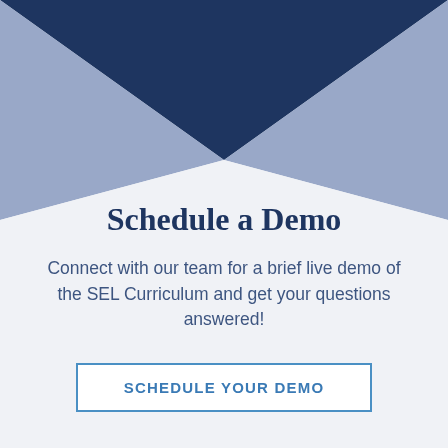[Figure (illustration): Decorative geometric background with dark navy blue triangle at top center, flanked by two medium blue-grey triangles on left and right forming an X or hourglass shape against a light grey-white background.]
Schedule a Demo
Connect with our team for a brief live demo of the SEL Curriculum and get your questions answered!
SCHEDULE YOUR DEMO